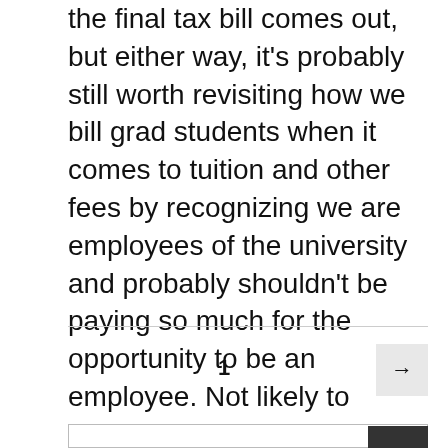the final tax bill comes out, but either way, it's probably still worth revisiting how we bill grad students when it comes to tuition and other fees by recognizing we are employees of the university and probably shouldn't be paying so much for the opportunity to be an employee. Not likely to happen (especially not before we graduate), but one can hope.
1